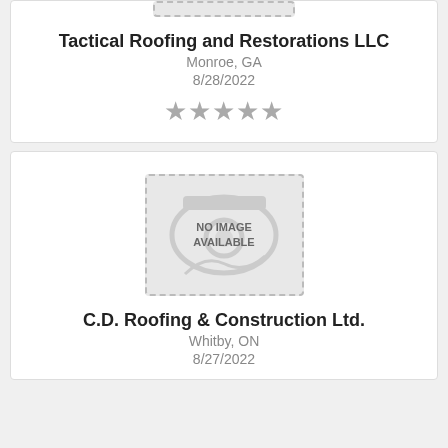[Figure (other): No image available placeholder box (partial, top of page)]
Tactical Roofing and Restorations LLC
Monroe, GA
8/28/2022
[Figure (other): Star rating: 5 empty/grey stars]
[Figure (other): No image available placeholder box with camera icon]
C.D. Roofing & Construction Ltd.
Whitby, ON
8/27/2022